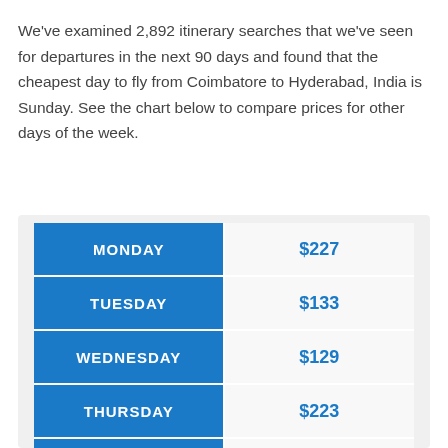We've examined 2,892 itinerary searches that we've seen for departures in the next 90 days and found that the cheapest day to fly from Coimbatore to Hyderabad, India is Sunday. See the chart below to compare prices for other days of the week.
| Day | Price |
| --- | --- |
| MONDAY | $227 |
| TUESDAY | $133 |
| WEDNESDAY | $129 |
| THURSDAY | $223 |
| FRIDAY | $138 |